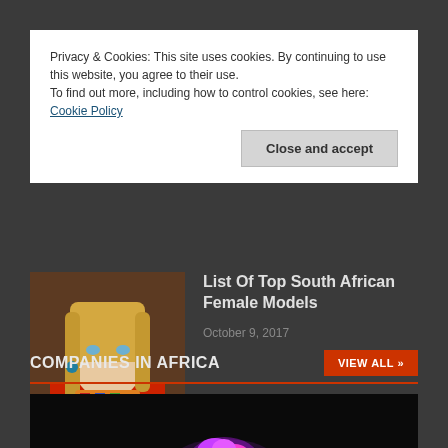Privacy & Cookies: This site uses cookies. By continuing to use this website, you agree to their use.
To find out more, including how to control cookies, see here: Cookie Policy
Close and accept
List Of Top South African Female Models
October 9, 2017
[Figure (photo): Photo of a female fashion model wearing red outfit with colorful scarf and earrings]
COMPANIES IN AFRICA
VIEW ALL »
[Figure (photo): Dark image with purple/pink glowing object, likely a companies in Africa featured image]